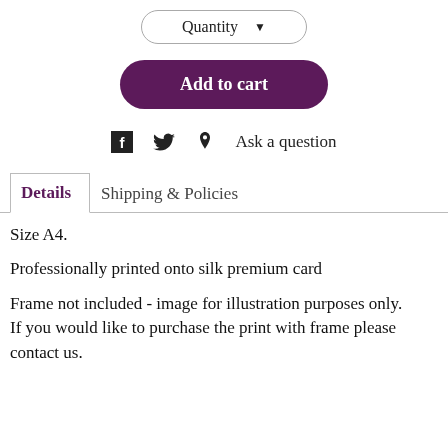[Figure (screenshot): Quantity dropdown button]
[Figure (screenshot): Add to cart button (dark purple/maroon)]
Ask a question
Details | Shipping & Policies
Size A4.
Professionally printed onto silk premium card
Frame not included - image for illustration purposes only.
If you would like to purchase the print with frame please contact us.